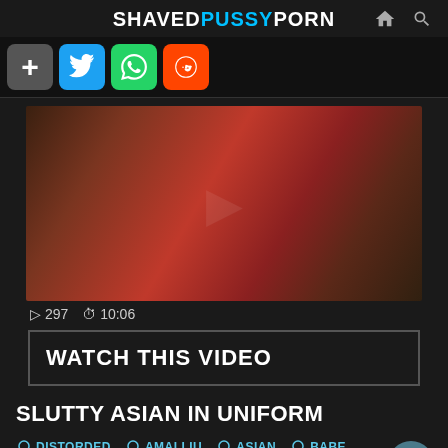SHAVEDPUSSYPORN
[Figure (screenshot): Website screenshot showing adult video thumbnail with social sharing bar, video metadata (297 views, 10:06 duration), watch button, video title, and tags]
▷ 297  ⏱ 10:06
WATCH THIS VIDEO
SLUTTY ASIAN IN UNIFORM
DISTORDED
AMAI LIU
ASIAN
BABE
BIG COCK
BLOWJOB
CASTING
COWGIRL